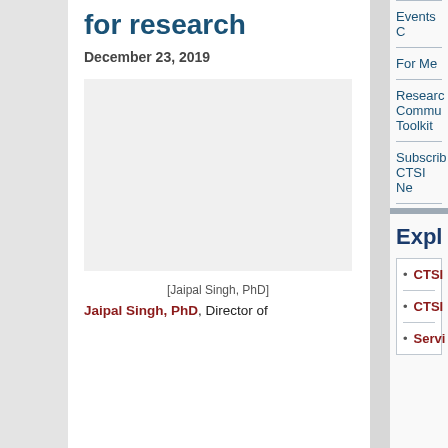for research
December 23, 2019
[Figure (photo): Empty/placeholder image area]
[Jaipal Singh, PhD]
Jaipal Singh, PhD, Director of
Events C
For Me
Research Commu Toolkit
Subscrib CTSI Ne
Explo
CTSI
CTSI
Servi